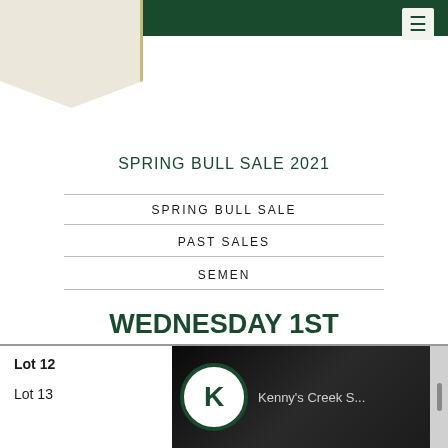SPRING BULL SALE
PAST SALES
SEMEN
SPRING BULL SALE 2021
WEDNESDAY 1ST SEPTEMBER 2021
HILLGROVE, BOOROWA NSW | 1PM AUCTION
Lot 12
Lot 13
[Figure (logo): Kenny's Creek S... logo with K emblem in dark green circle on black background]